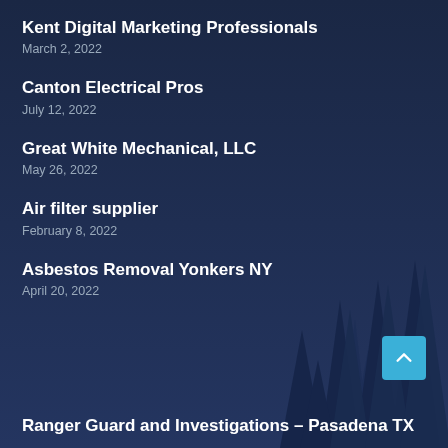Kent Digital Marketing Professionals
March 2, 2022
Canton Electrical Pros
July 12, 2022
Great White Mechanical, LLC
May 26, 2022
Air filter supplier
February 8, 2022
Asbestos Removal Yonkers NY
April 20, 2022
Ranger Guard and Investigations – Pasadena TX